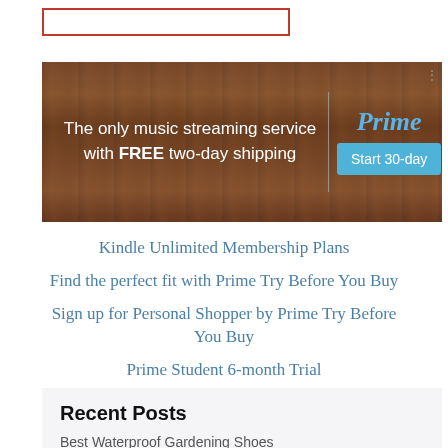[Figure (other): Empty search input box with red border outline]
[Figure (other): Amazon Prime ad banner with wood texture background. Left side text: 'The only music streaming service with FREE two-day shipping'. Right side: 'Prime' in blue italic text and a teal 'Start 30-day' button.]
Kindle Unlimited Membership Plans
Find the perfect fit with Prime Try Before You Buy
Sign up for Personal Shopper by Prime Try Before You Buy
Prime Student 6-month Trial
Recent Posts
Best Waterproof Gardening Shoes